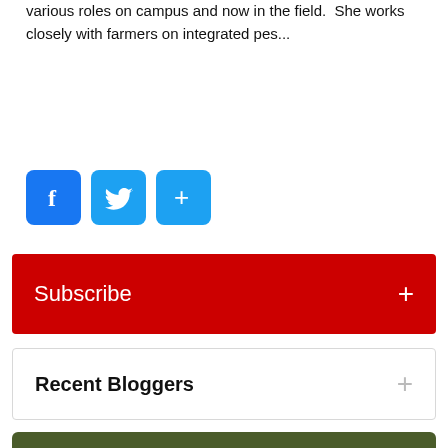various roles on campus and now in the field.  She works closely with farmers on integrated pes...
[Figure (infographic): Social share buttons: Facebook (blue square with f), Twitter (blue square with bird), and a generic share button (blue square with +)]
Subscribe +
Recent Bloggers +
View Regional Updates